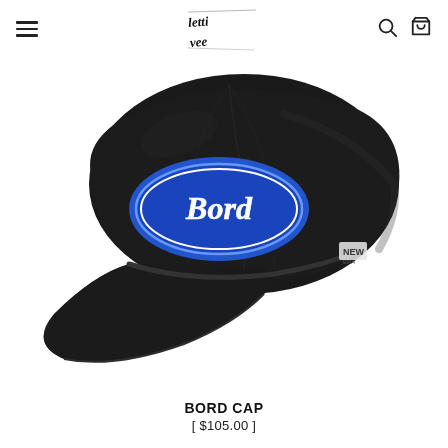Letti Vee — navigation header with hamburger menu, logo, search and cart icons
[Figure (photo): Black New Era dad cap with a blue oval Ford-style patch that reads 'Bord' in white script lettering, photographed at an angle on a white background.]
BORD CAP
[$105.00]